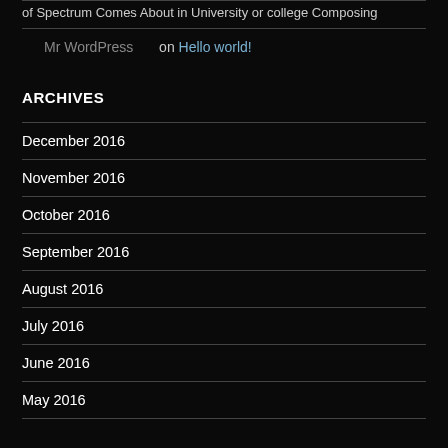of Spectrum Comes About in University or college Composing
Mr WordPress on Hello world!
ARCHIVES
December 2016
November 2016
October 2016
September 2016
August 2016
July 2016
June 2016
May 2016